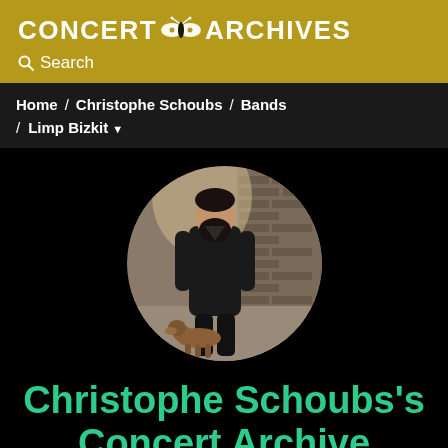CONCERT ARCHIVES
Search
Home / Christophe Schoubs / Bands / Limp Bizkit
[Figure (photo): Circular profile photo of a bearded man in a dark jacket standing in an alleyway with a dog at his feet]
Christophe Schoubs's Concert Archive